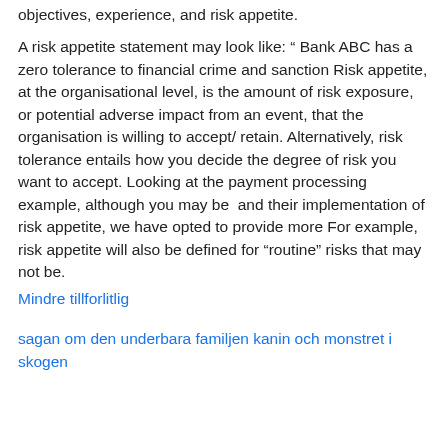objectives, experience, and risk appetite.
A risk appetite statement may look like: “ Bank ABC has a zero tolerance to financial crime and sanction Risk appetite, at the organisational level, is the amount of risk exposure, or potential adverse impact from an event, that the organisation is willing to accept/ retain. Alternatively, risk tolerance entails how you decide the degree of risk you want to accept. Looking at the payment processing example, although you may be  and their implementation of risk appetite, we have opted to provide more For example, risk appetite will also be defined for “routine” risks that may not be.
Mindre tillforlitlig
sagan om den underbara familjen kanin och monstret i skogen